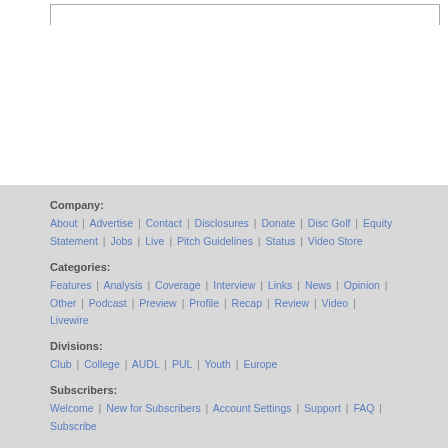Company:
About | Advertise | Contact | Disclosures | Donate | Disc Golf | Equity Statement | Jobs | Live | Pitch Guidelines | Status | Video Store
Categories:
Features | Analysis | Coverage | Interview | Links | News | Opinion | Other | Podcast | Preview | Profile | Recap | Review | Video | Livewire
Divisions:
Club | College | AUDL | PUL | Youth | Europe
Subscribers:
Welcome | New for Subscribers | Account Settings | Support | FAQ | Subscribe
Find us on:
Facebook | Twitter | Instagram | Snapchat | Tumblr | YouTube |